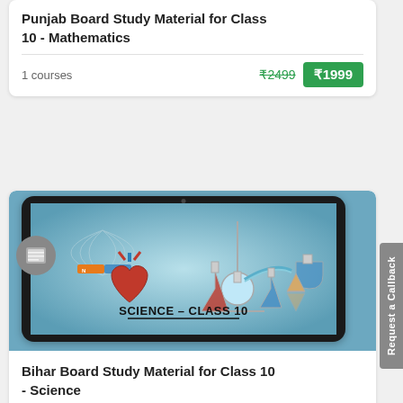Punjab Board Study Material for Class 10 - Mathematics
1 courses
₹2499  ₹1999
[Figure (illustration): Tablet showing Science - Class 10 course image with heart anatomy, chemistry equipment, and magnetic field illustrations on a teal background]
Bihar Board Study Material for Class 10 - Science
3 courses
₹2499  ₹1999